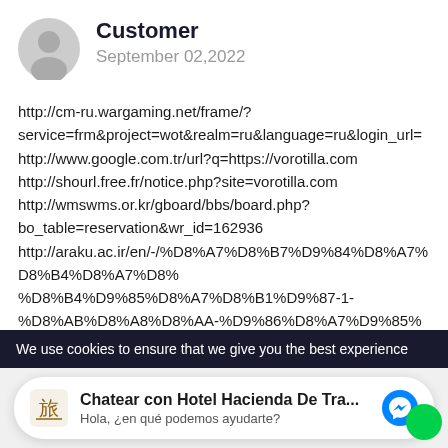Customer
September 02,2022
http://cm-ru.wargaming.net/frame/?service=frm&project=wot&realm=ru&language=ru&login_url=
http://www.google.com.tr/url?q=https://vorotilla.com
http://shourl.free.fr/notice.php?site=vorotilla.com
http://wmswms.or.kr/gboard/bbs/board.php?bo_table=reservation&wr_id=162936
http://araku.ac.ir/en/-/%D8%A7%D8%B7%D9%84%D8%A7%D8%B4%D9%85%D8%A7%D8%B1%D9%87-1-%D8%AB%D8%A8%D8%AA-%D8%AA%D8%AB%D8%A8%D8%AA-%D8%A3%D8%B5%D8%A7%D9%86%D8%B9-%D8%A7%D9%86%D8%AA%D8%AC%D8%A7%D9%86%D8%B9-%D8%A7%D9%86%D8%AA%D8%AC%D8%A7%D8%B9%D8%A7%D8%AA-%D8%A7%D9%84%D8%AA%D8%AC%D8%A7%D8%B1%D8%B9-%D8%A7%D9%86%D8%AA%D8%AC%D8%A7%D8%B9%D8%A7%D8%AA-%D8%A7%D9%86%D8%AA%D8%AC
We use cookies to ensure that we give you the best experience
Chatear con Hotel Hacienda De Tra...
Hola, ¿en qué podemos ayudarte?